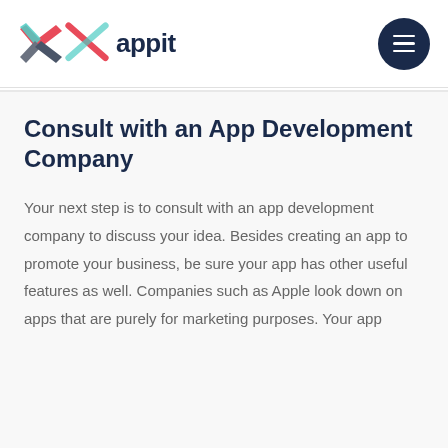appit
Consult with an App Development Company
Your next step is to consult with an app development company to discuss your idea. Besides creating an app to promote your business, be sure your app has other useful features as well. Companies such as Apple look down on apps that are purely for marketing purposes. Your app